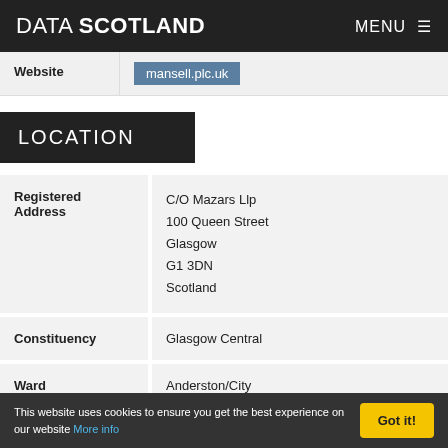DATA SCOTLAND  MENU ≡
| Website | mansell.plc.uk |
| --- | --- |
LOCATION
| Registered Address | C/O Mazars Llp
100 Queen Street
Glasgow
G1 3DN
Scotland |
| Constituency | Glasgow Central |
| Ward | Anderston/City |
This website uses cookies to ensure you get the best experience on our website More info  Got it!